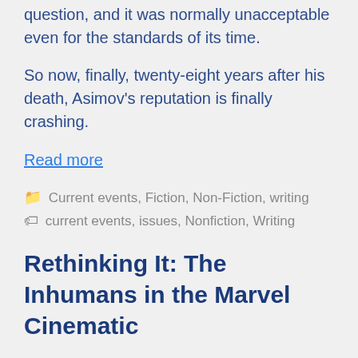question, and it was normally unacceptable even for the standards of its time.
So now, finally, twenty-eight years after his death, Asimov’s reputation is finally crashing.
Read more
Current events, Fiction, Non-Fiction, writing
current events, issues, Nonfiction, Writing
Rethinking It: The Inhumans in the Marvel Cinematic